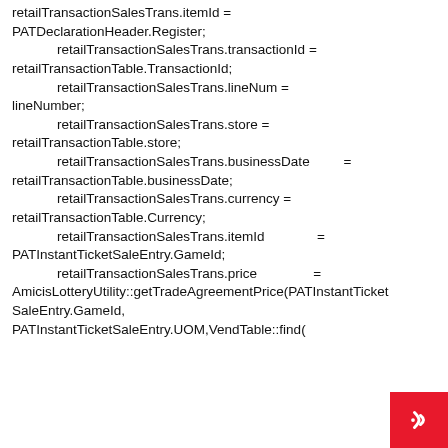retailTransactionSalesTrans.itemId = PATDeclarationHeader.Register;
            retailTransactionSalesTrans.transactionId = retailTransactionTable.TransactionId;
            retailTransactionSalesTrans.lineNum = lineNumber;
            retailTransactionSalesTrans.store = retailTransactionTable.store;
            retailTransactionSalesTrans.businessDate         = retailTransactionTable.businessDate;
            retailTransactionSalesTrans.currency = retailTransactionTable.Currency;
            retailTransactionSalesTrans.itemId              = PATInstantTicketSaleEntry.GameId;
            retailTransactionSalesTrans.price               = AmicisLotteryUtility::getTradeAgreementPrice(PATInstantTicketSaleEntry.GameId, PATInstantTicketSaleEntry.UOM,VendTable::find(